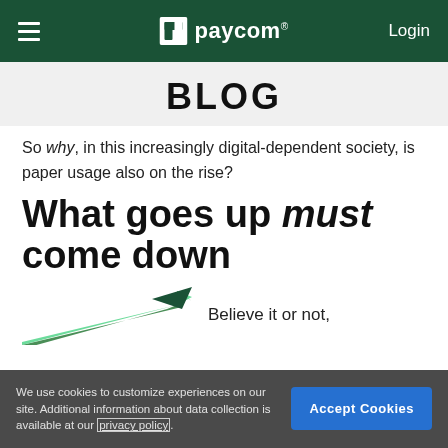paycom® Login
BLOG
So why, in this increasingly digital-dependent society, is paper usage also on the rise?
What goes up must come down
[Figure (illustration): Partial green arrow or chart illustration visible at bottom left]
Believe it or not,
We use cookies to customize experiences on our site. Additional information about data collection is available at our privacy policy.